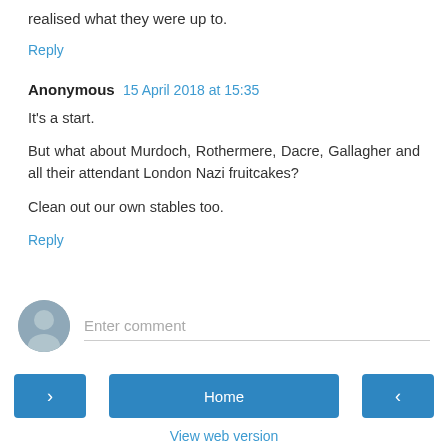realised what they were up to.
Reply
Anonymous  15 April 2018 at 15:35
It's a start.

But what about Murdoch, Rothermere, Dacre, Gallagher and all their attendant London Nazi fruitcakes?

Clean out our own stables too.
Reply
Enter comment
Home
View web version